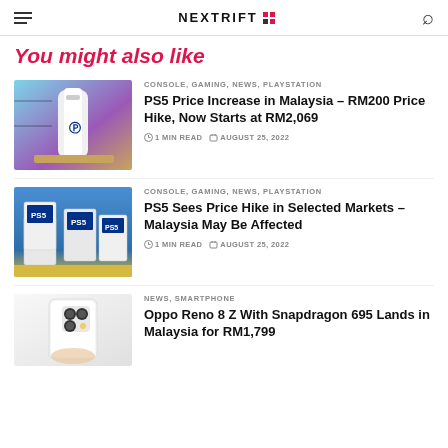NEXTRIFT
You might also like
[Figure (photo): PS5 console standing upright on a desk with purple/teal background]
CONSOLE, GAMING, NEWS, PLAYSTATION
PS5 Price Increase in Malaysia – RM200 Price Hike, Now Starts at RM2,069
1 MIN READ   AUGUST 25, 2022
[Figure (photo): Stack of PS5 console boxes in a store]
CONSOLE, GAMING, NEWS, PLAYSTATION
PS5 Sees Price Hike in Selected Markets – Malaysia May Be Affected
1 MIN READ   AUGUST 25, 2022
[Figure (photo): Oppo Reno 8 Z smartphone held in hand showing back panel]
NEWS, SMARTPHONE
Oppo Reno 8 Z With Snapdragon 695 Lands in Malaysia for RM1,799